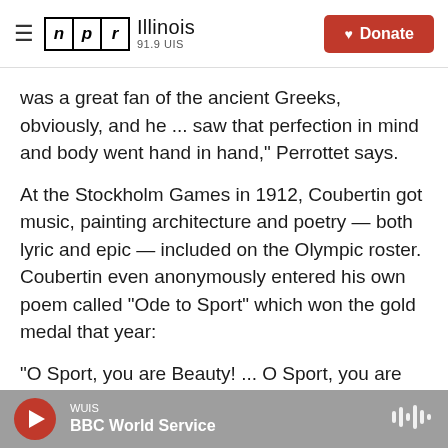NPR Illinois 91.9 UIS — Donate
was a great fan of the ancient Greeks, obviously, and he ... saw that perfection in mind and body went hand in hand," Perrottet says.
At the Stockholm Games in 1912, Coubertin got music, painting architecture and poetry — both lyric and epic — included on the Olympic roster. Coubertin even anonymously entered his own poem called "Ode to Sport" which won the gold medal that year:
"O Sport, you are Beauty! ... O Sport, you are Justice! ... O Sport, you are Happiness! The body
WUIS — BBC World Service